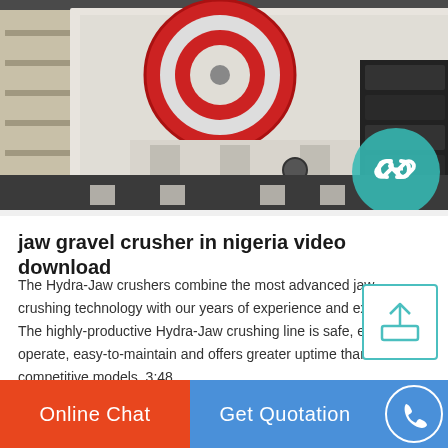[Figure (photo): Industrial jaw crusher machine photographed in a factory/warehouse setting. Large white machine with red circular flywheel visible. Various equipment and stacked parts visible in background.]
jaw gravel crusher in nigeria video download
The Hydra-Jaw crushers combine the most advanced jaw crushing technology with our years of experience and expertise. The highly-productive Hydra-Jaw crushing line is safe, easy-to-operate, easy-to-maintain and offers greater uptime than competitive models. 3:48.
[Figure (photo): Partial view of industrial machinery, orange colored equipment visible, appears to be a second product listing image strip.]
Online Chat   Get Quotation